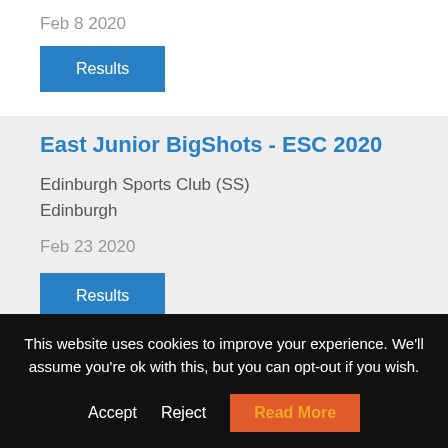Feb 8 2020
Results
East Junior BigShots - ESC 2020
Edinburgh Sports Club (SS)
Edinburgh
Feb 23 2020
Results
Super Squashers (Juniors) Feb20
This website uses cookies to improve your experience. We'll assume you're ok with this, but you can opt-out if you wish.
Accept
Reject
Read More